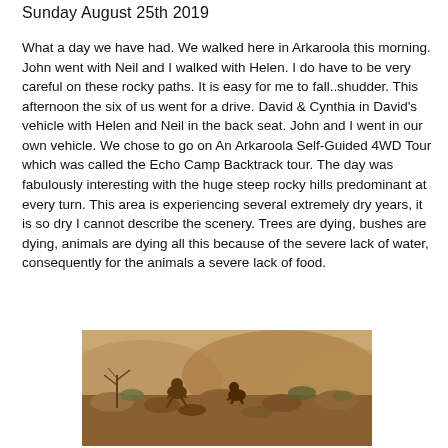Sunday August 25th 2019
What a day we have had. We walked here in Arkaroola this morning. John went with Neil and I walked with Helen. I do have to be very careful on these rocky paths. It is easy for me to fall..shudder. This afternoon the six of us went for a drive. David & Cynthia in David's vehicle with Helen and Neil in the back seat. John and I went in our own vehicle. We chose to go on An Arkaroola Self-Guided 4WD Tour which was called the Echo Camp Backtrack tour. The day was fabulously interesting with the huge steep rocky hills predominant at every turn. This area is experiencing several extremely dry years, it is so dry I cannot describe the scenery. Trees are dying, bushes are dying, animals are dying all this because of the severe lack of water, consequently for the animals a severe lack of food.
[Figure (photo): Photo of animals (likely kangaroos or wallabies) among rocks in a dry, arid landscape in Arkaroola]